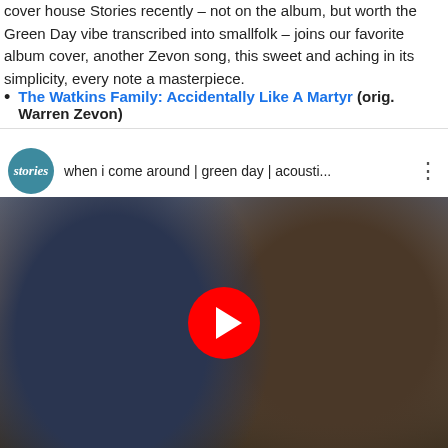cover house Stories recently – not on the album, but worth the Green Day vibe transcribed into smallfolk – joins our favorite album cover, another Zevon song, this sweet and aching in its simplicity, every note a masterpiece.
The Watkins Family: Accidentally Like A Martyr (orig. Warren Zevon)
[Figure (screenshot): YouTube video thumbnail showing two musicians – a woman with glasses singing and a man playing acoustic guitar – with Stories channel logo and title 'when i come around | green day | acousti...' and a red play button overlay]